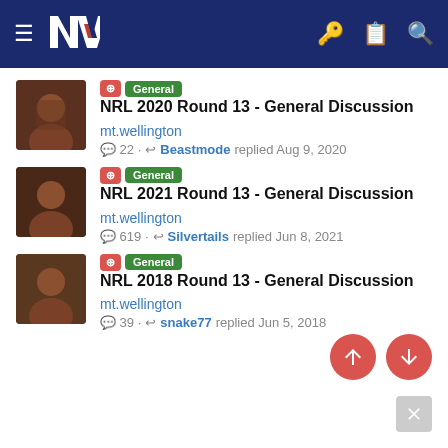[Figure (screenshot): Navigation header with NZ Warriors logo, hamburger menu, key icon, clipboard icon, and search icon on dark blue background]
General | NRL 2020 Round 13 - General Discussion
mt.wellington
22 · Beastmode replied Aug 9, 2020
General | NRL 2021 Round 13 - General Discussion
mt.wellington
619 · Silvertails replied Jun 8, 2021
General | NRL 2018 Round 13 - General Discussion
mt.wellington
39 · snake77 replied Jun 5, 2018